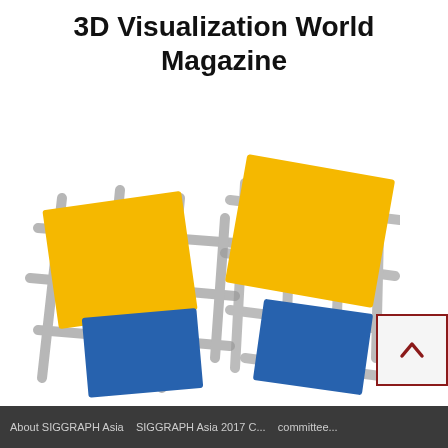3D Visualization World Magazine
[Figure (logo): 3D Visualization World Magazine logo consisting of two groups of overlapping colored rectangles (yellow and blue) with gray grid lines crossing through them, arranged like a scattered grid or map. Left group slightly larger, right group slightly smaller and tilted differently.]
[Figure (other): Scroll-to-top button with dark red border and upward chevron arrow]
About SIGGRAPH Asia ... SIGGRAPH Asia 2017 C... committee...